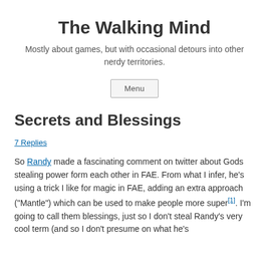The Walking Mind
Mostly about games, but with occasional detours into other nerdy territories.
Menu
Secrets and Blessings
7 Replies
So Randy made a fascinating comment on twitter about Gods stealing power form each other in FAE. From what I infer, he’s using a trick I like for magic in FAE, adding an extra approach (“Mantle”) which can be used to make people more super[1]. I’m going to call them blessings, just so I don’t steal Randy’s very cool term (and so I don’t presume on what he’s